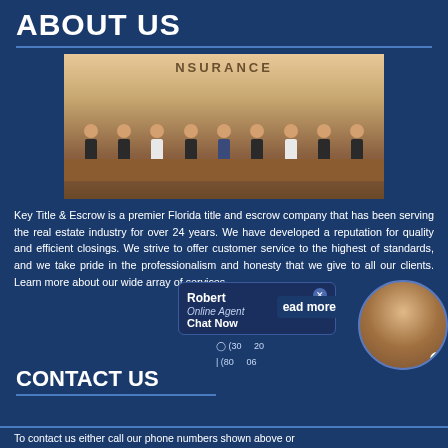ABOUT US
[Figure (photo): Group photo of Key Title & Escrow staff standing behind a reception desk in front of a sign reading INSURANCE]
Key Title & Escrow is a premier Florida title and escrow company that has been serving the real estate industry for over 24 years. We have developed a reputation for quality and efficient closings. We strive to offer customer service to the highest of standards, and we take pride in the professionalism and honesty that we give to all our clients. Learn more about our wide array of services.
[Figure (other): Live chat widget showing Robert the Online Agent with Chat Now button and phone numbers, with an agent photo overlay]
CONTACT US
To contact us either call our phone numbers shown above or